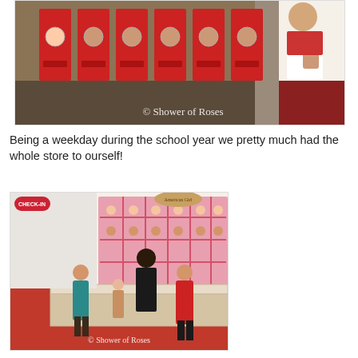[Figure (photo): American Girl store interior showing red doll boxes with circular windows on shelves, and a child holding a doll on the right. Watermark reads '© Shower of Roses'.]
Being a weekday during the school year we pretty much had the whole store to ourself!
[Figure (photo): American Girl store doll hair salon area with children standing at a counter. Pink shelving with dolls visible in background. Watermark reads '© Shower of Roses'.]